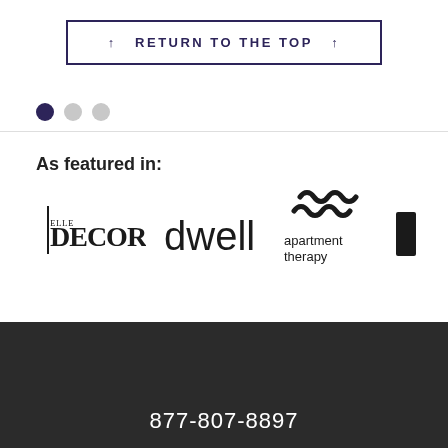↑  RETURN TO THE TOP  ↑
[Figure (other): Three pagination dots: one filled dark purple, two light grey]
As featured in:
[Figure (logo): Logos: ELLE DECOR, dwell, apartment therapy, and a partial fourth logo]
877-807-8897